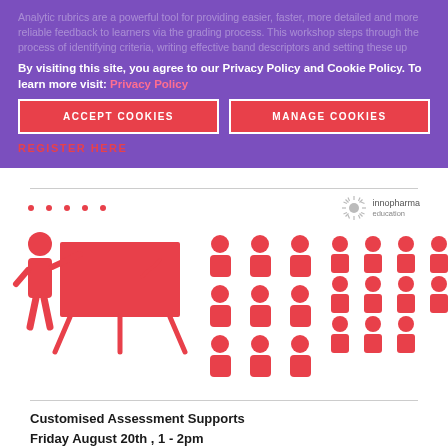Analytic rubrics are a powerful tool for providing easier, faster, more detailed and more reliable feedback to learners via the grading process. This workshop steps through the process of identifying criteria, writing effective band descriptors and setting these up
By visiting this site, you agree to our Privacy Policy and Cookie Policy. To learn more visit: Privacy Policy
ACCEPT COOKIES
MANAGE COOKIES
REGISTER HERE
[Figure (illustration): Illustration showing a teacher at a whiteboard with groups of student icons arranged in rows, all in coral/salmon color on white background. Innopharma Education logo in top right corner with navigation dots on left.]
Customised Assessment Supports
Friday August 20th , 1 - 2pm